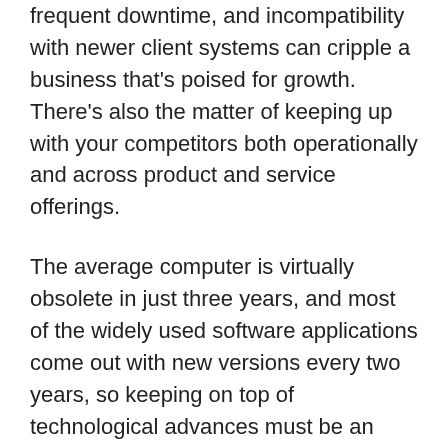frequent downtime, and incompatibility with newer client systems can cripple a business that's poised for growth. There's also the matter of keeping up with your competitors both operationally and across product and service offerings.
The average computer is virtually obsolete in just three years, and most of the widely used software applications come out with new versions every two years, so keeping on top of technological advances must be an ongoing endeavor. Start out by working regular capital upgrade costs into your budget. Consider dedicating a full-time person to information technology (IT), if you